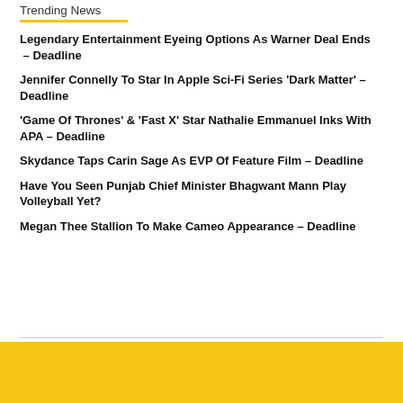Trending News
Legendary Entertainment Eyeing Options As Warner Deal Ends  – Deadline
Jennifer Connelly To Star In Apple Sci-Fi Series 'Dark Matter' – Deadline
'Game Of Thrones' & 'Fast X' Star Nathalie Emmanuel Inks With APA – Deadline
Skydance Taps Carin Sage As EVP Of Feature Film – Deadline
Have You Seen Punjab Chief Minister Bhagwant Mann Play Volleyball Yet?
Megan Thee Stallion To Make Cameo Appearance – Deadline